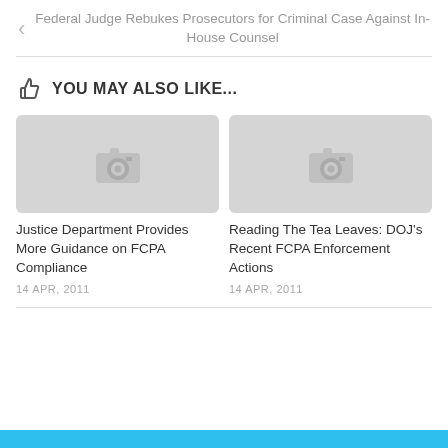Federal Judge Rebukes Prosecutors for Criminal Case Against In-House Counsel
YOU MAY ALSO LIKE...
[Figure (photo): Placeholder image with camera icon for Justice Department article]
Justice Department Provides More Guidance on FCPA Compliance
14 APR, 2011
[Figure (photo): Placeholder image with camera icon for Reading The Tea Leaves article]
Reading The Tea Leaves: DOJ's Recent FCPA Enforcement Actions
14 APR, 2011